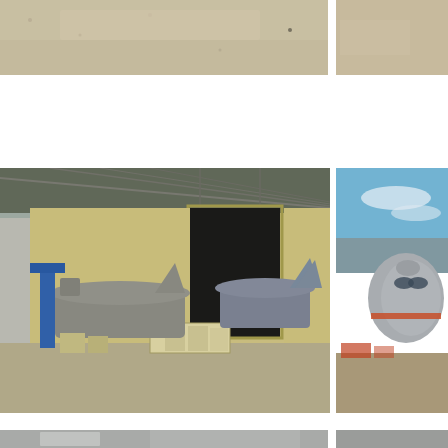[Figure (photo): Top photo strip: sandy/gravel ground surface, cropped aircraft photos — Gulfstream G1, CH-37 Mojave, VH-34 Choctaw]
Gulfstream G1, CH-37 Mojave, VH-34 Choctaw
[Figure (photo): Middle left large photo: Hangar exterior with Dassault Guardian, Martin B-26, and F/A-18 Hornet aircraft on ramp with equipment and crates]
[Figure (photo): Middle right photo: Large military/cargo aircraft on gravel ramp with blue sky, nose view]
Dassault Guardian, Martin B-26, F/A-18 Hornet
[Figure (photo): Bottom photo strip partially visible: interior of hangar or building, gray walls and doors]